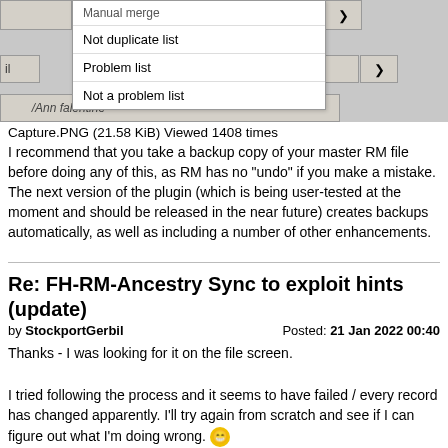[Figure (screenshot): A software UI dropdown menu showing options: Manual merge, Not duplicate list, Problem list, Not a problem list, with arrow buttons on the right side.]
Capture.PNG (21.58 KiB) Viewed 1408 times
I recommend that you take a backup copy of your master RM file before doing any of this, as RM has no "undo" if you make a mistake. The next version of the plugin (which is being user-tested at the moment and should be released in the near future) creates backups automatically, as well as including a number of other enhancements.
Re: FH-RM-Ancestry Sync to exploit hints (update)
by StockportGerbil    Posted: 21 Jan 2022 00:40
Thanks - I was looking for it on the file screen.
I tried following the process and it seems to have failed / every record has changed apparently. I'll try again from scratch and see if I can figure out what I'm doing wrong. 😀